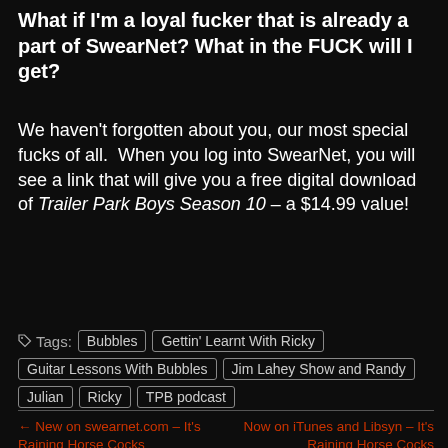What if I'm a loyal fucker that is already a part of SwearNet? What in the FUCK will I get?
We haven't forgotten about you, our most special fucks of all. When you log into SwearNet, you will see a link that will give you a free digital download of Trailer Park Boys Season 10 – a $14.99 value!
Tags: Bubbles | Gettin' Learnt With Ricky | Guitar Lessons With Bubbles | Jim Lahey Show and Randy | Julian | Ricky | TPB podcast
← New on swearnet.com – It's Raining Horse Cocks    Now on iTunes and Libsyn – It's Raining Horse Cocks